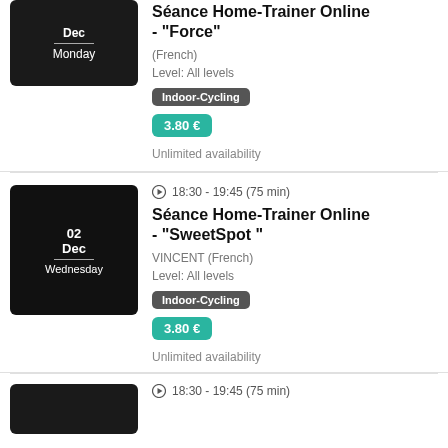[Figure (photo): Thumbnail image showing indoor cycling/home trainer equipment with Dec Monday date overlay]
Séance Home-Trainer Online - "Force"
(French)
Level: All levels
Indoor-Cycling
3.80 €
Unlimited availability
[Figure (photo): Thumbnail image showing person on treadmill with 02 Dec Wednesday date overlay]
18:30 - 19:45 (75 min)
Séance Home-Trainer Online - "SweetSpot "
VINCENT (French)
Level: All levels
Indoor-Cycling
3.80 €
Unlimited availability
[Figure (photo): Partial thumbnail of another session at bottom of page]
18:30 - 19:45 (75 min)